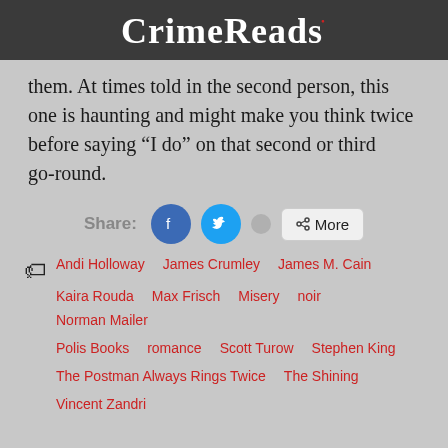CrimeReads
them. At times told in the second person, this one is haunting and might make you think twice before saying “I do” on that second or third go-round.
[Figure (other): Share buttons row: Facebook, Twitter, dot, and More button]
Andi Holloway
James Crumley
James M. Cain
Kaira Rouda
Max Frisch
Misery
noir
Norman Mailer
Polis Books
romance
Scott Turow
Stephen King
The Postman Always Rings Twice
The Shining
Vincent Zandri